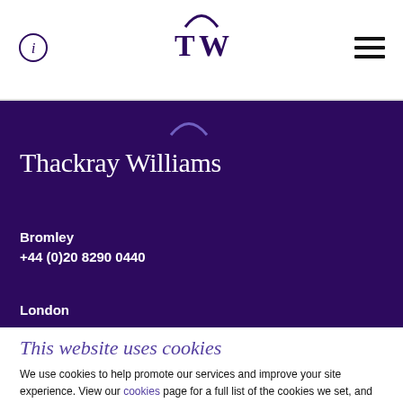i (info icon) | TW logo | hamburger menu
[Figure (logo): Thackray Williams TW arc logo in dark purple]
Thackray Williams
Bromley
+44 (0)20 8290 0440
London
This website uses cookies
We use cookies to help promote our services and improve your site experience. View our cookies page for a full list of the cookies we set, and to change your cookie settings.